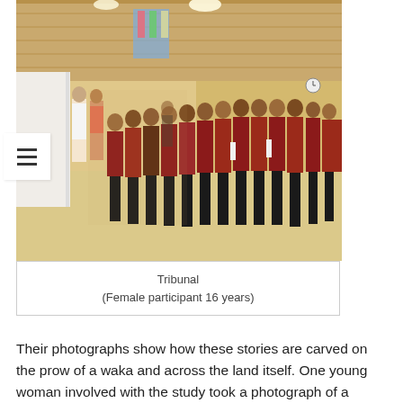[Figure (photo): A group of young Ngāti Tūwharetoa women in traditional red and black attire performing waiata (song/dance) in a wooden hall, standing in a line. A few other people are visible in the background near the left wall. The hall has wooden panelled walls and ceiling, and decorated items visible at the far end.]
Tribunal
(Female participant 16 years)
Their photographs show how these stories are carved on the prow of a waka and across the land itself. One young woman involved with the study took a photograph of a group of young Ngāti Tūwharetoa women performing waiata before the Waitangi Tribunal during a Treaty claim hearing. [NB: